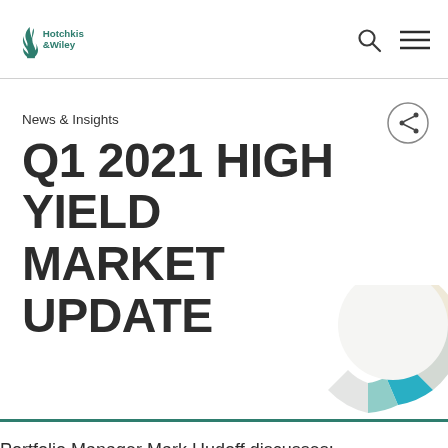Hotchkis & Wiley
News & Insights
Q1 2021 HIGH YIELD MARKET UPDATE
[Figure (donut-chart): Partial decorative donut/pie chart visible in lower right corner, with teal, light teal, and light gray segments]
Portfolio Manager Mark Hudoff discusses: